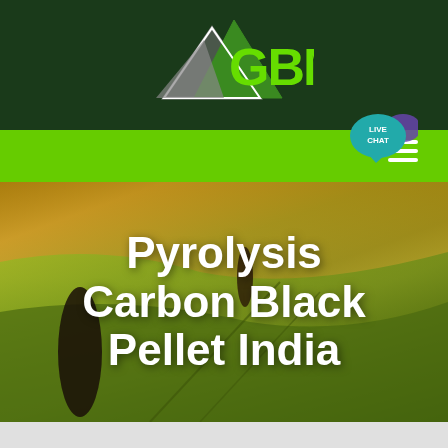[Figure (logo): GBM company logo with mountain/arrow icon in green and gray on dark green background, with 'GBM' text in bright green]
[Figure (other): Navigation bar in bright green with hamburger menu icon on right, and 'LIVE CHAT' speech bubble in teal/purple]
[Figure (photo): Aerial photograph of rolling agricultural fields in golden-green tones with tree silhouettes]
Pyrolysis Carbon Black Pellet India